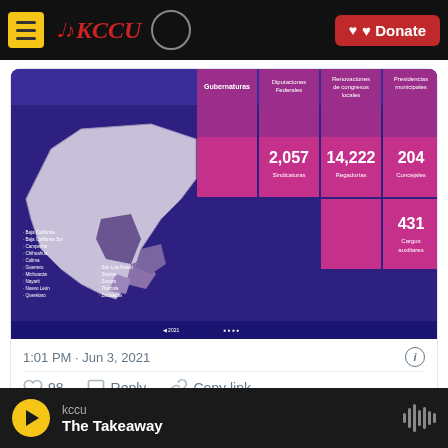KCCU — Donate
[Figure (infographic): Mexico election infographic showing a map of Mexico with highlighted states, and data boxes showing: 2,057 Sindicaturas, 14,222 Regadurías, 204 Concejales, 431 Cargos auxiliares. Categories include Gubernaturas, Diputaciones Federales, Renovaciones de congresos locales, Presidencias municipales.]
1:01 PM · Jun 3, 2021
98   Reply   Copy link
Read 6 replies
kccu — The Takeaway